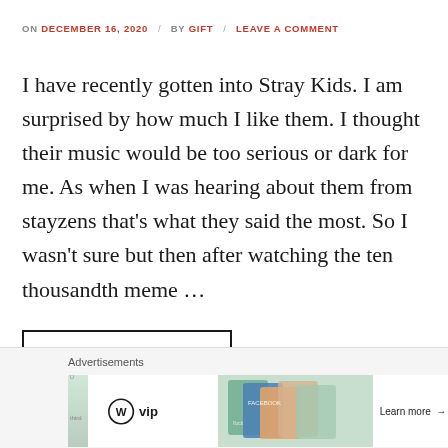ON DECEMBER 16, 2020 / BY GIFT / LEAVE A COMMENT
I have recently gotten into Stray Kids. I am surprised by how much I like them. I thought their music would be too serious or dark for me. As when I was hearing about them from stayzens that's what they said the most. So I wasn't sure but then after watching the ten thousandth meme …
CONTINUE READING →
[Figure (other): Advertisement bar with WordPress VIP logo, social media card tiles, and Learn more button]